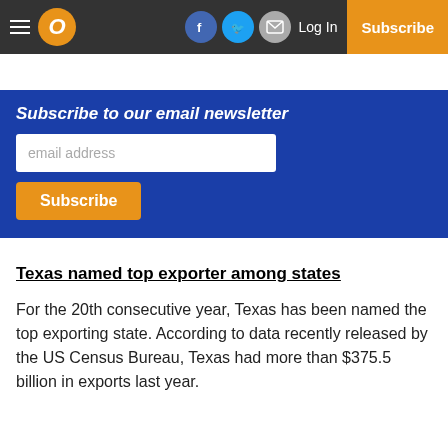Navigation bar with logo, social icons (Facebook, Twitter, Email), Log In, Subscribe
Subscribe to our email newsletter
email address
Subscribe
Texas named top exporter among states
For the 20th consecutive year, Texas has been named the top exporting state. According to data recently released by the US Census Bureau, Texas had more than $375.5 billion in exports last year.